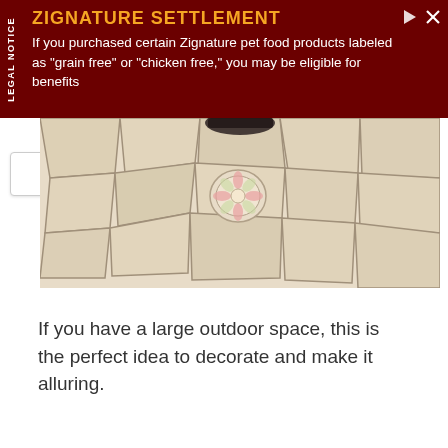[Figure (other): Legal notice advertisement banner with dark red background. Title reads 'ZIGNATURE SETTLEMENT' in orange bold text. Body text: 'If you purchased certain Zignature pet food products labeled as "grain free" or "chicken free," you may be eligible for benefits'. A vertical 'LEGAL NOTICE' label on the left side. Play and close icons on top right.]
[Figure (photo): Partial photo of a mosaic or stone tile floor/patio with irregular stone pieces and a decorative circular flower medallion in the center. A dark object (possibly a shoe) is partially visible at the top.]
If you have a large outdoor space, this is the perfect idea to decorate and make it alluring.